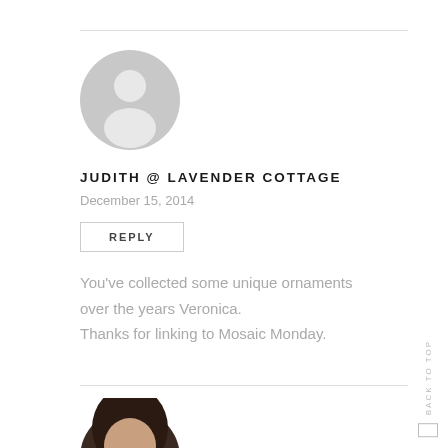[Figure (illustration): Default user avatar — grey circle with a white silhouette person icon]
JUDITH @ LAVENDER COTTAGE
December 15, 2014
REPLY
You've collected some unique ornaments over the years Veronica.
Thanks for linking to Mosaic Monday.
[Figure (photo): Partial photo of a person with dark hair, cropped at bottom of page]